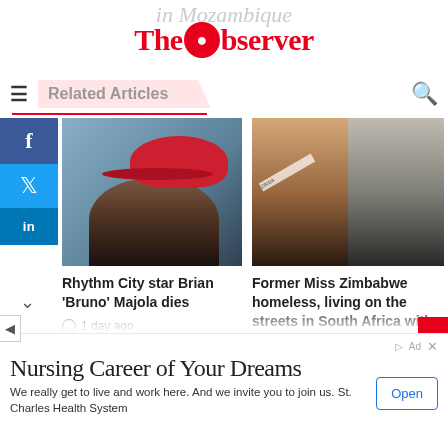in Mozambique
[Figure (logo): The Observer logo with globe replacing letter O, in red]
Related Articles
[Figure (photo): Man wearing red bucket hat, black t-shirt, looking sideways against blue wall]
Rhythm City star Brian 'Bruno' Majola dies
1 day ago
[Figure (photo): Two women: left woman in red dress with Miss Zimbabwe sash, right woman in black blazer smiling]
Former Miss Zimbabwe homeless, living on the streets in South Africa with 'Nyaope' boys
2 days ago
Nursing Career of Your Dreams
We really get to live and work here. And we invite you to join us. St. Charles Health System